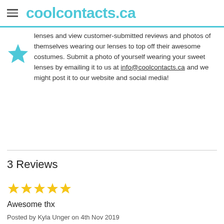coolcontacts.ca
lenses and view customer-submitted reviews and photos of themselves wearing our lenses to top off their awesome costumes. Submit a photo of yourself wearing your sweet lenses by emailing it to us at info@coolcontacts.ca and we might post it to our website and social media!
3 Reviews
[Figure (other): Five yellow star rating icons]
Awesome thx
Posted by Kyla Unger on 4th Nov 2019